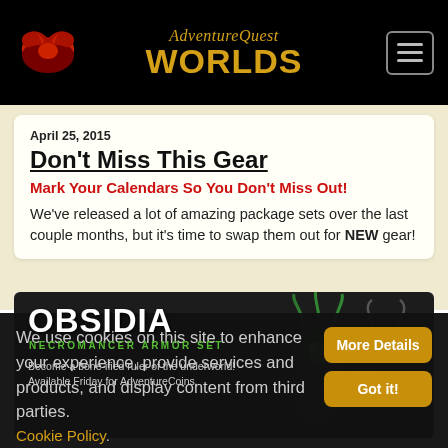AdventureQuest Worlds
April 25, 2015
Don't Miss This Gear
Mark Your Calendars So You Don't Miss Out!
We've released a lot of amazing package sets over the last couple months, but it's time to swap them out for NEW gear!
[Figure (illustration): Obsidia Necromancer Armor Set banner. Dark background with text 'OBSIDIA' in large white letters, subtitle 'NECROMANCER ARMOR SET' in green, description text 'Become a bone-ified ruler of the underworld! Available Friday for AdventureCoins.' and two dark fantasy character illustrations on the right.]
We use cookies on this site to enhance your experience, provide services and products, and display content from third parties. Cookie Policy.